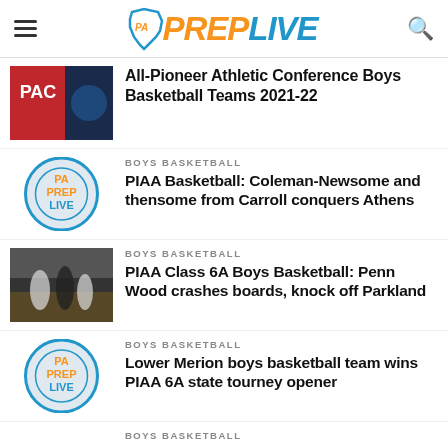PA PREP LIVE
[Figure (photo): PAC logo and basketball player photo thumbnail]
All-Pioneer Athletic Conference Boys Basketball Teams 2021-22
[Figure (logo): PA Prep Live circular logo]
BOYS BASKETBALL
PIAA Basketball: Coleman-Newsome and thensome from Carroll conquers Athens
[Figure (photo): Basketball players action photo]
BOYS BASKETBALL
PIAA Class 6A Boys Basketball: Penn Wood crashes boards, knock off Parkland
[Figure (logo): PA Prep Live circular logo]
BOYS BASKETBALL
Lower Merion boys basketball team wins PIAA 6A state tourney opener
BOYS BASKETBALL
PIAA Class 5A Boys Basketball: